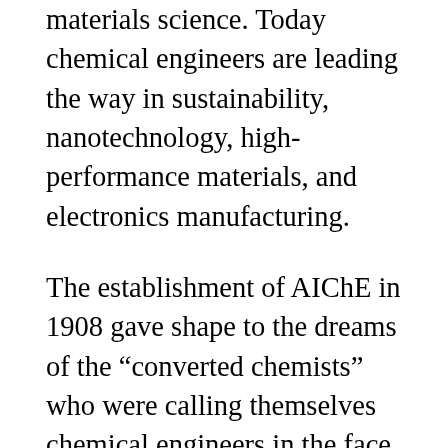materials science. Today chemical engineers are leading the way in sustainability, nanotechnology, high-performance materials, and electronics manufacturing.
The establishment of AIChE in 1908 gave shape to the dreams of the “converted chemists” who were calling themselves chemical engineers in the face of opposition from employers as well as professional colleagues. After a century of growth AIChE is unquestionably the world’s leading organization for chemical engineers, with more than 40,000